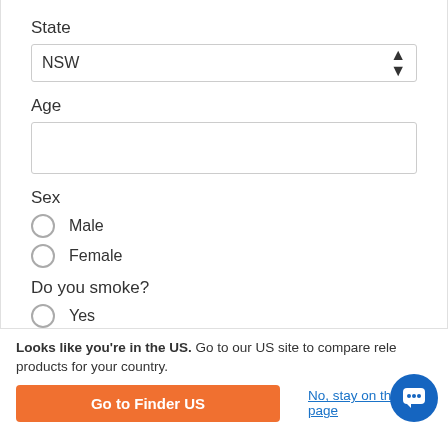State
NSW
Age
Sex
Male
Female
Do you smoke?
Yes
No
Looks like you're in the US. Go to our US site to compare rele products for your country.
Go to Finder US
No, stay on this page